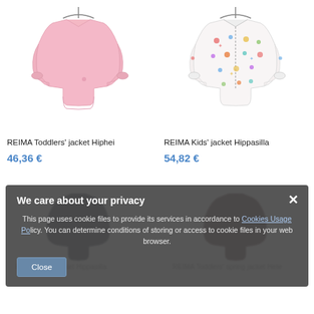[Figure (photo): Pink toddler jacket (REIMA Toddlers' jacket Hiphei) on white background]
REIMA Toddlers' jacket Hiphei
46,36 €
[Figure (photo): Patterned kids' jacket (REIMA Kids' jacket Hippasilla) with colorful print on white background]
REIMA Kids' jacket Hippasilla
54,82 €
[Figure (photo): Dark navy jacket partially visible, blurred behind cookie overlay]
[Figure (photo): Dark red/burgundy jacket partially visible, blurred behind cookie overlay]
We care about your privacy
This page uses cookie files to provide its services in accordance to Cookies Usage Policy. You can determine conditions of storing or access to cookie files in your web browser.
Close
REIMA Kids' jacket Hippasilla
REIMA Toddlers' spring jacket Hete